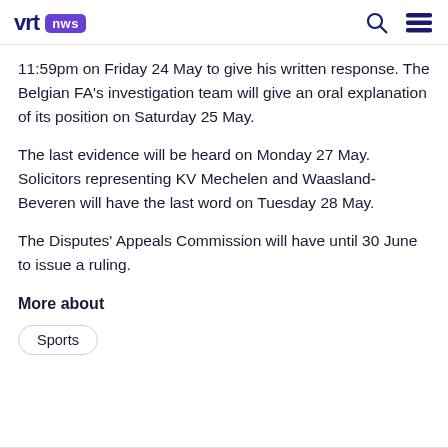vrt nws
11:59pm on Friday 24 May to give his written response. The Belgian FA's investigation team will give an oral explanation of its position on Saturday 25 May.
The last evidence will be heard on Monday 27 May. Solicitors representing KV Mechelen and Waasland-Beveren will have the last word on Tuesday 28 May.
The Disputes' Appeals Commission will have until 30 June to issue a ruling.
More about
Sports